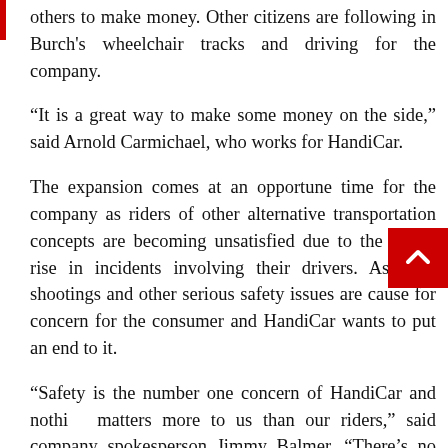others to make money. Other citizens are following in Burch's wheelchair tracks and driving for the company.
“It is a great way to make some money on the side,” said Arnold Carmichael, who works for HandiCar.
The expansion comes at an opportune time for the company as riders of other alternative transportation concepts are becoming unsatisfied due to the recent rise in incidents involving their drivers. Assaults, shootings and other serious safety issues are cause for concern for the consumer and HandiCar wants to put an end to it.
“Safety is the number one concern of HandiCar and nothing matters more to us than our riders,” said company spokesperson Jimmy Balmer. “There’s no reason why we cannot be both accessible and safe.”
HandiCar has been so successful that after their expansion into Southern California they plan to increase business production to try and take on other forms of transportation including the traditional gas powered vehicle and the